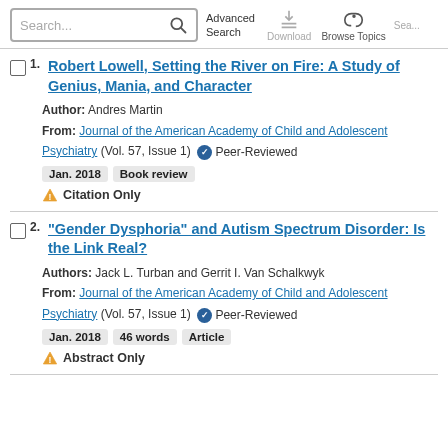Search... Advanced Search Download Browse Topics
1. Robert Lowell, Setting the River on Fire: A Study of Genius, Mania, and Character. Author: Andres Martin. From: Journal of the American Academy of Child and Adolescent Psychiatry (Vol. 57, Issue 1) Peer-Reviewed. Jan. 2018 Book review. Citation Only
2. "Gender Dysphoria" and Autism Spectrum Disorder: Is the Link Real? Authors: Jack L. Turban and Gerrit I. Van Schalkwyk. From: Journal of the American Academy of Child and Adolescent Psychiatry (Vol. 57, Issue 1) Peer-Reviewed. Jan. 2018 46 words Article. Abstract Only